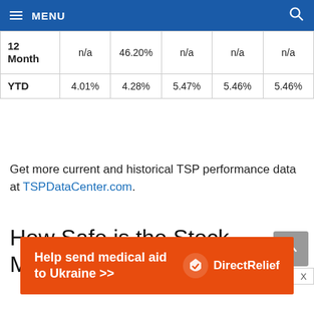MENU
|  |  | 46.20% |  |  |  |
| --- | --- | --- | --- | --- | --- |
| 12 Month | n/a | 46.20% | n/a | n/a | n/a |
| YTD | 4.01% | 4.28% | 5.47% | 5.46% | 5.46% |
Get more current and historical TSP performance data at TSPDataCenter.com.
How Safe is the Stock Market Now?
[Figure (other): Orange advertisement banner for Direct Relief: 'Help send medical aid to Ukraine >>' with Direct Relief logo]